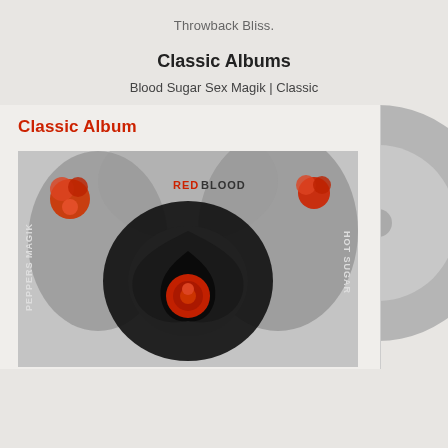Throwback Bliss.
Classic Albums
Blood Sugar Sex Magik | Classic
[Figure (photo): Album cover of Blood Sugar Sex Magik by Red Hot Chili Peppers, showing the iconic black and white artwork with red roses and the band text. The album art is shown overlaid on a large grey vinyl record circle. Text on the album reads: Classic Album, RED BLOOD, HOT SUGAR, PEPPERS MAGIK.]